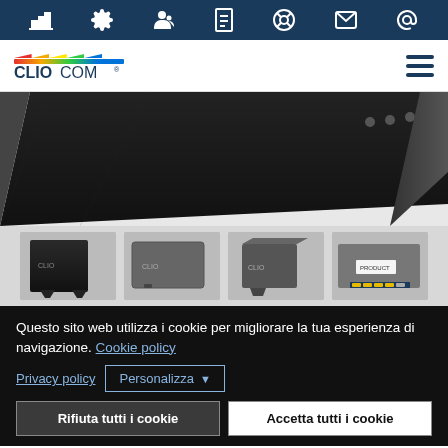Navigation bar with icons: factory, settings, person, document, support, email, at-sign
[Figure (logo): CLIOCOM logo with rainbow flag stripe and hamburger menu icon]
[Figure (photo): Close-up photo of a black network router device from above/side angle]
[Figure (photo): Row of four router/modem product thumbnail images in gray background]
Questo sito web utilizza i cookie per migliorare la tua esperienza di navigazione. Cookie policy
Privacy policy | Personalizza
Rifiuta tutti i cookie | Accetta tutti i cookie